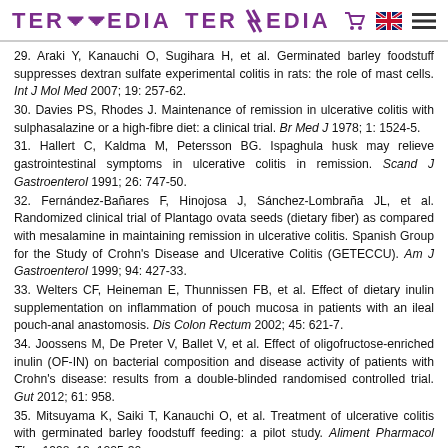TERMEDIA
29. Araki Y, Kanauchi O, Sugihara H, et al. Germinated barley foodstuff suppresses dextran sulfate experimental colitis in rats: the role of mast cells. Int J Mol Med 2007; 19: 257-62.
30. Davies PS, Rhodes J. Maintenance of remission in ulcerative colitis with sulphasalazine or a high-fibre diet: a clinical trial. Br Med J 1978; 1: 1524-5.
31. Hallert C, Kaldma M, Petersson BG. Ispaghula husk may relieve gastrointestinal symptoms in ulcerative colitis in remission. Scand J Gastroenterol 1991; 26: 747-50.
32. Fernández-Bañares F, Hinojosa J, Sánchez-Lombraña JL, et al. Randomized clinical trial of Plantago ovata seeds (dietary fiber) as compared with mesalamine in maintaining remission in ulcerative colitis. Spanish Group for the Study of Crohn's Disease and Ulcerative Colitis (GETECCU). Am J Gastroenterol 1999; 94: 427-33.
33. Welters CF, Heineman E, Thunnissen FB, et al. Effect of dietary inulin supplementation on inflammation of pouch mucosa in patients with an ileal pouch-anal anastomosis. Dis Colon Rectum 2002; 45: 621-7.
34. Joossens M, De Preter V, Ballet V, et al. Effect of oligofructose-enriched inulin (OF-IN) on bacterial composition and disease activity of patients with Crohn's disease: results from a double-blinded randomised controlled trial. Gut 2012; 61: 958.
35. Mitsuyama K, Saiki T, Kanauchi O, et al. Treatment of ulcerative colitis with germinated barley foodstuff feeding: a pilot study. Aliment Pharmacol Ther 1998; 12: 1225-30.
36. Hanai H, Kanauchi O, Mitsuyama K, et al. Germinated barley foodstuff prolongs remission in patients with ulcerative colitis. Int J Mol Med 2004; 13: 643-7.